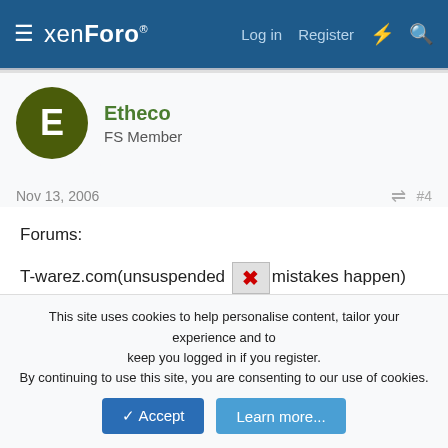xenForo — Log in  Register
Etheco
FS Member
Nov 13, 2006  #4
Forums:

T-warez.com(unsuspended [broken image] mistakes happen)
Freesteam.org
projectw.com

Sites:
swgemu.com
This site uses cookies to help personalise content, tailor your experience and to keep you logged in if you register.
By continuing to use this site, you are consenting to our use of cookies.
Accept  Learn more...